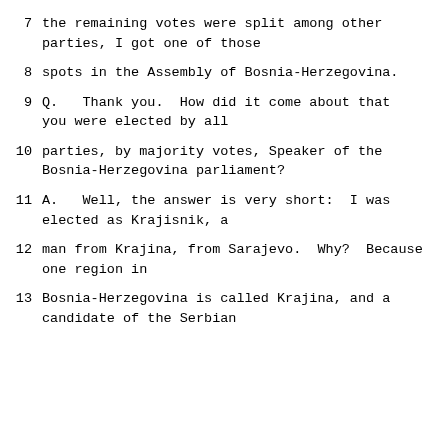7    the remaining votes were split among other parties, I got one of those
8    spots in the Assembly of Bosnia-Herzegovina.
9    Q.   Thank you.  How did it come about that you were elected by all
10   parties, by majority votes, Speaker of the Bosnia-Herzegovina parliament?
11   A.   Well, the answer is very short:  I was elected as Krajisnik, a
12   man from Krajina, from Sarajevo.  Why?  Because one region in
13   Bosnia-Herzegovina is called Krajina, and a candidate of the Serbian